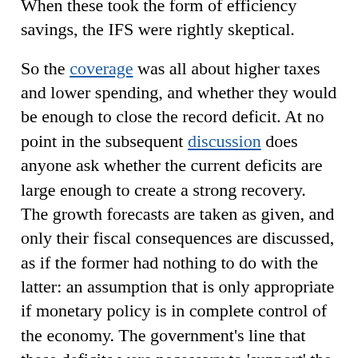When these took the form of efficiency savings, the IFS were rightly skeptical.
So the coverage was all about higher taxes and lower spending, and whether they would be enough to close the record deficit. At no point in the subsequent discussion does anyone ask whether the current deficits are large enough to create a strong recovery. The growth forecasts are taken as given, and only their fiscal consequences are discussed, as if the former had nothing to do with the latter: an assumption that is only appropriate if monetary policy is in complete control of the economy. The government's line that these deficits were necessary to 'support' the economy was almost entirely ignored.
Furthermore, the issue of whether the markets would purchase all this extra debt was already being raised. This is City speak, seeing a recession as involving more government debt and therefore perhaps higher rates, rather than understanding that the recession was caused by more saving and less borrowing so there would be plenty of new